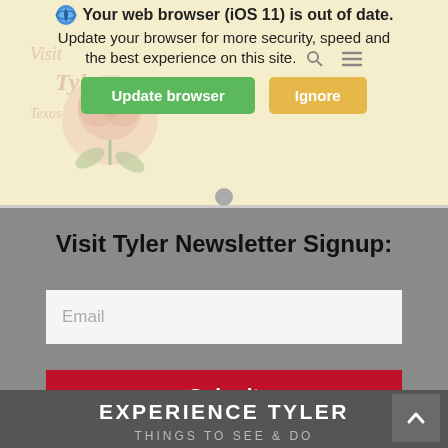[Figure (screenshot): Website browser update warning banner with iOS 11 out of date message, Update browser (green) and Ignore (orange/yellow) buttons, Visit Tyler Texas logo with rose graphic in background]
Visit Tyler Newsletter Signup:
[Figure (screenshot): Email input field with placeholder text 'Email']
[Figure (screenshot): Red Submit button]
EXPERIENCE TYLER
THINGS TO SEE & DO